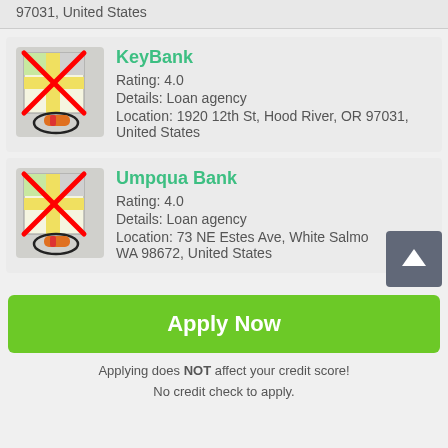97031, United States
KeyBank
Rating: 4.0
Details: Loan agency
Location: 1920 12th St, Hood River, OR 97031, United States
Umpqua Bank
Rating: 4.0
Details: Loan agency
Location: 73 NE Estes Ave, White Salmon, WA 98672, United States
Apply Now
Applying does NOT affect your credit score!
No credit check to apply.